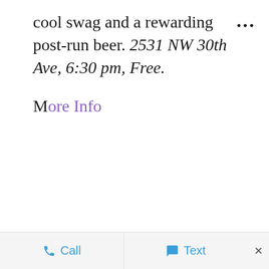cool swag and a rewarding post-run beer. 2531 NW 30th Ave, 6:30 pm, Free.
More Info
Call   Text